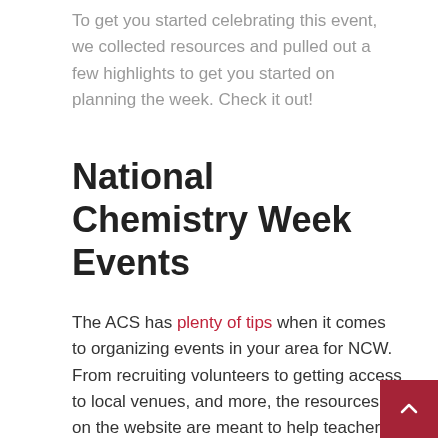To get you started celebrating this event, we collected resources and pulled out a few highlights to get you started on planning the week. Check it out!
National Chemistry Week Events
The ACS has plenty of tips when it comes to organizing events in your area for NCW. From recruiting volunteers to getting access to local venues, and more, the resources on the website are meant to help teachers and interested